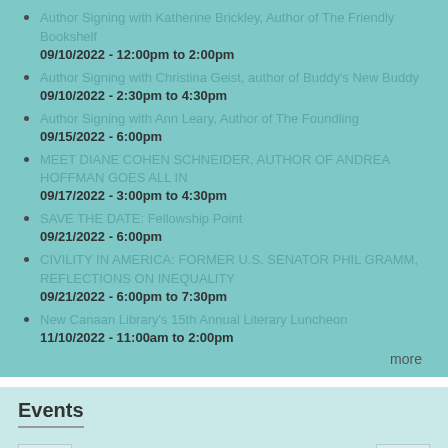Author Signing with Katherine Brickley, Author of The Friendly Bookshelf
09/10/2022 - 12:00pm to 2:00pm
Author Signing with Christina Geist, author of Buddy's New Buddy
09/10/2022 - 2:30pm to 4:30pm
Author Signing with Ann Leary, Author of The Foundling
09/15/2022 - 6:00pm
MEET DIANE COHEN SCHNEIDER, AUTHOR OF ANDREA HOFFMAN GOES ALL IN
09/17/2022 - 3:00pm to 4:30pm
SAVE THE DATE: Fellowship Point
09/21/2022 - 6:00pm
CIVILITY IN AMERICA: FORMER U.S. SENATOR PHIL GRAMM, REFLECTIONS ON INEQUALITY
09/21/2022 - 6:00pm to 7:30pm
New Canaan Library's 15th Annual Literary Luncheon
11/10/2022 - 11:00am to 2:00pm
more
Events
April